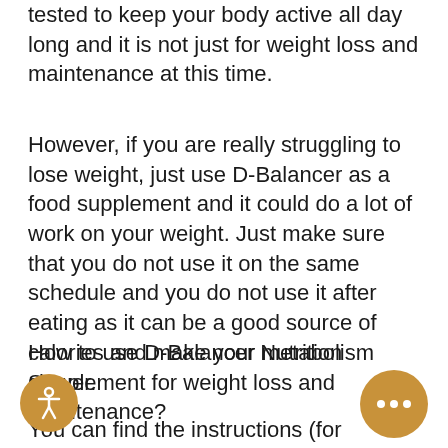tested to keep your body active all day long and it is not just for weight loss and maintenance at this time.
However, if you are really struggling to lose weight, just use D-Balancer as a food supplement and it could do a lot of work on your weight. Just make sure that you do not use it on the same schedule and you do not use it after eating as it can be a good source of calories and make your metabolism slower.
How to use D-Balancer Nutrition Supplement for weight loss and maintenance?
You can find the instructions (for weight gain) and how to use the D-Balancer by searching on the above mentioned w… page. If you need advice or have any questions about the D-Balancer, just do